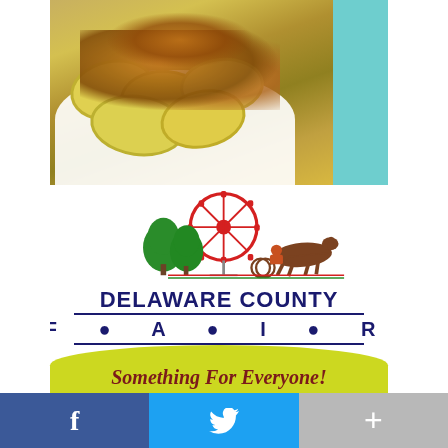[Figure (photo): Close-up photo of fried squash slices with breadcrumb topping on a white plate, with teal background on right side]
[Figure (logo): Delaware County Fair logo featuring a red ferris wheel, green trees, brown horse and sulky driver, with text 'DELAWARE COUNTY FAIR' and tagline 'Something For Everyone!' on a yellow-green banner]
f
𝕥
+